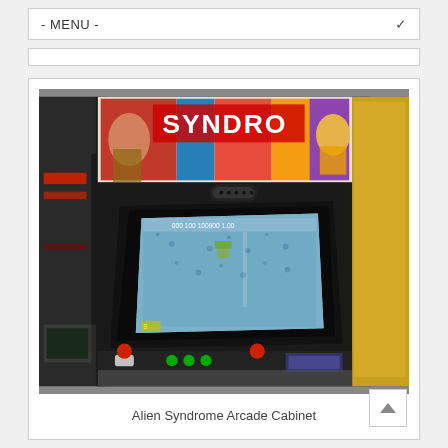- MENU -
[Figure (photo): Alien Syndrome arcade cabinet showing the game screen with colorful marquee artwork at the top and an angled CRT monitor displaying gameplay. A yellow side panel is visible on the right and another arcade cabinet is partially visible on the left. Red joystick visible at the bottom.]
Alien Syndrome Arcade Cabinet